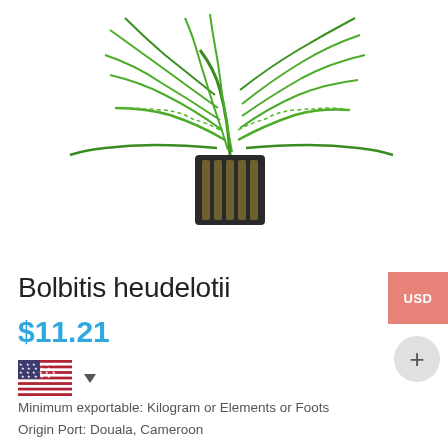[Figure (photo): A green aquatic plant (Bolbitis heudelotii) in a dark plastic pot against a white background. The plant has delicate, feathery green fronds spreading outward.]
Bolbitis heudelotii
$11.21
[Figure (other): US flag icon with dropdown arrow indicator]
Minimum exportable: Kilogram or Elements or Foots
Origin Port: Douala, Cameroon
Payment methods: L/C,T/T,Western Union,MoneyGram
Sales methods: F.O.B